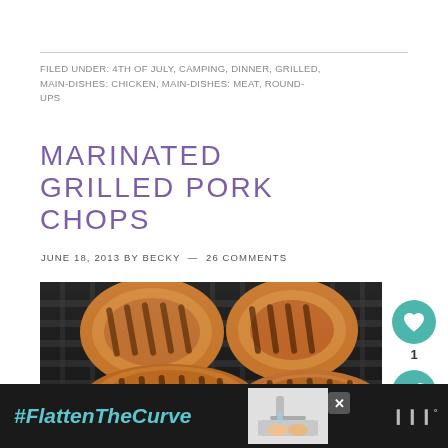FILED UNDER: 4TH OF JULY, CAMPING, DINNER, GRILLED, MAIN-DISHES: CHICKEN, MAIN-DISHES: MEAT, ROUND-UPS
MARINATED GRILLED PORK CHOPS
JUNE 18, 2013 BY BECKY  —  26 COMMENTS
[Figure (photo): Four marinated pork chops grilling on a dark grill grate, showing grill marks and caramelized browning]
#FlattenTheCurve
[Figure (photo): Person washing hands at a sink, advertisement image]